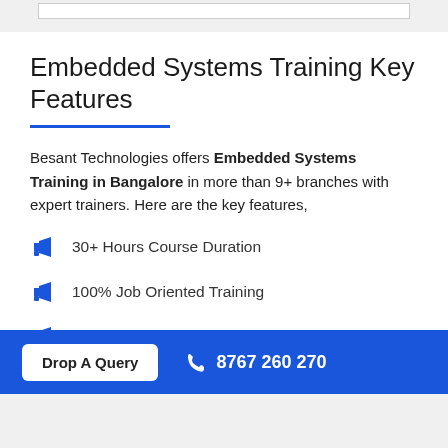Embedded Systems Training Key Features
Besant Technologies offers Embedded Systems Training in Bangalore in more than 9+ branches with expert trainers. Here are the key features,
30+ Hours Course Duration
100% Job Oriented Training
Industry Expert Faculties
Free Demo Class Available
Drop A Query   8767 260 270